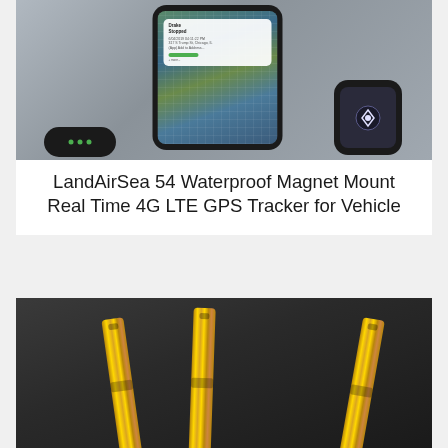[Figure (photo): LandAirSea GPS tracker product photo showing a smartphone with map and notification overlay, a smartwatch, and a small black circular tracker device]
LandAirSea 54 Waterproof Magnet Mount Real Time 4G LTE GPS Tracker for Vehicle
[Figure (photo): Three gold/brass colored vape pen cartridges arranged on a dark background]